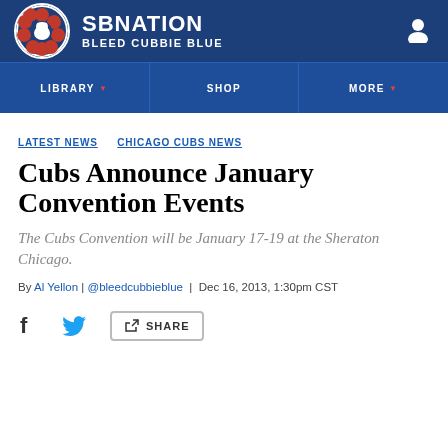SB NATION — BLEED CUBBIE BLUE
LIBRARY  SHOP  MORE
LATEST NEWS  CHICAGO CUBS NEWS
Cubs Announce January Convention Events
The Cubs Convention will be January 17-19 at the Sheraton Chicago.
By Al Yellon | @bleedcubbieblue | Dec 16, 2013, 1:30pm CST
SHARE